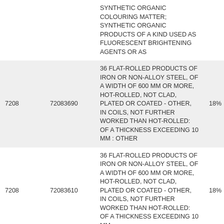|  |  | Description | Rate |
| --- | --- | --- | --- |
|  |  | SYNTHETIC ORGANIC COLOURING MATTER; SYNTHETIC ORGANIC PRODUCTS OF A KIND USED AS FLUORESCENT BRIGHTENING AGENTS OR AS |  |
| 7208 | 72083690 | 36 FLAT-ROLLED PRODUCTS OF IRON OR NON-ALLOY STEEL, OF A WIDTH OF 600 MM OR MORE, HOT-ROLLED, NOT CLAD, PLATED OR COATED - OTHER, IN COILS, NOT FURTHER WORKED THAN HOT-ROLLED: OF A THICKNESS EXCEEDING 10 MM : OTHER | 18% |
| 7208 | 72083610 | 36 FLAT-ROLLED PRODUCTS OF IRON OR NON-ALLOY STEEL, OF A WIDTH OF 600 MM OR MORE, HOT-ROLLED, NOT CLAD, PLATED OR COATED - OTHER, IN COILS, NOT FURTHER WORKED THAN HOT-ROLLED: OF A THICKNESS EXCEEDING 10 MM : | 18% |